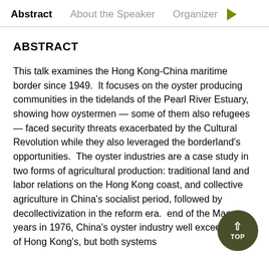Abstract   About the Speaker   Organizer
ABSTRACT
This talk examines the Hong Kong-China maritime border since 1949.  It focuses on the oyster producing communities in the tidelands of the Pearl River Estuary, showing how oystermen — some of them also refugees — faced security threats exacerbated by the Cultural Revolution while they also leveraged the borderland's opportunities.  The oyster industries are a case study in two forms of agricultural production: traditional land and labor relations on the Hong Kong coast, and collective agriculture in China's socialist period, followed by decollectivization in the reform era.  end of the Mao years in 1976, China's oyster industry well exceeded that of Hong Kong's, but both systems